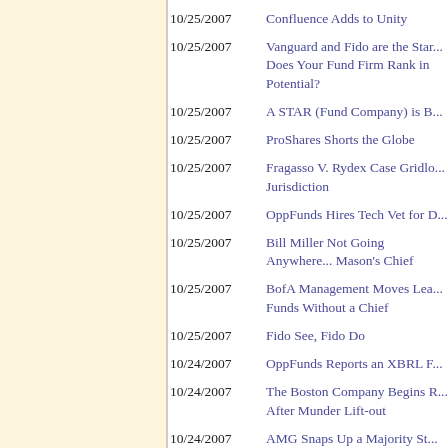10/25/2007 — Confluence Adds to Unity
10/25/2007 — Vanguard and Fido are the Star... Does Your Fund Firm Rank in Potential?
10/25/2007 — A STAR (Fund Company) is B...
10/25/2007 — ProShares Shorts the Globe
10/25/2007 — Fragasso V. Rydex Case Gridlo... Jurisdiction
10/25/2007 — OppFunds Hires Tech Vet for D...
10/25/2007 — Bill Miller Not Going Anywhere... Mason's Chief
10/25/2007 — BofA Management Moves Lea... Funds Without a Chief
10/25/2007 — Fido See, Fido Do
10/24/2007 — OppFunds Reports an XBRL F...
10/24/2007 — The Boston Company Begins R... After Munder Lift-out
10/24/2007 — AMG Snaps Up a Majority St...